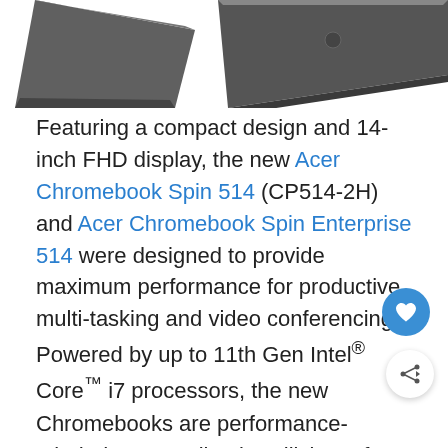[Figure (photo): Two Acer Chromebook Spin 514 laptops photographed from the top/rear, partially visible at top of page — left unit shown from side angle, right unit shown from above.]
Featuring a compact design and 14-inch FHD display, the new Acer Chromebook Spin 514 (CP514-2H) and Acer Chromebook Spin Enterprise 514 were designed to provide maximum performance for productive multi-tasking and video conferencing. Powered by up to 11th Gen Intel® Core™ i7 processors, the new Chromebooks are performance-minded yet run silently, utilizing a fan-less design that's ideal for classroom use.